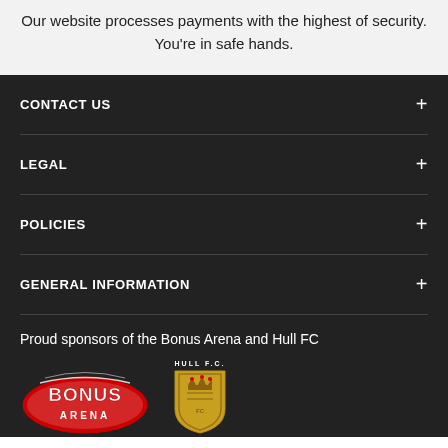Our website processes payments with the highest of security. You're in safe hands.
CONTACT US
LEGAL
POLICIES
GENERAL INFORMATION
Proud sponsors of the Bonus Arena and Hull FC
[Figure (logo): Bonus Arena logo - red and white oval with BONUS ARENA text]
[Figure (logo): Hull FC crest logo - gold shield with crown and HULL F.C. text]